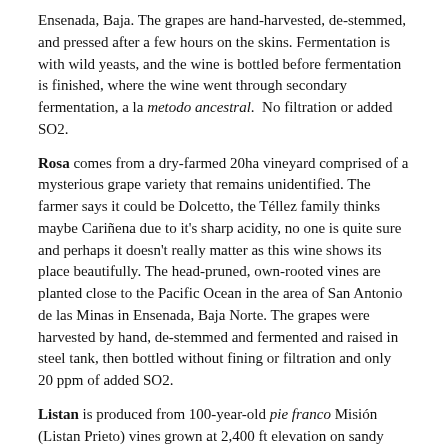Ensenada, Baja. The grapes are hand-harvested, de-stemmed, and pressed after a few hours on the skins. Fermentation is with wild yeasts, and the wine is bottled before fermentation is finished, where the wine went through secondary fermentation, a la metodo ancestral. No filtration or added SO2.
Rosa comes from a dry-farmed 20ha vineyard comprised of a mysterious grape variety that remains unidentified. The farmer says it could be Dolcetto, the Téllez family thinks maybe Cariñena due to it's sharp acidity, no one is quite sure and perhaps it doesn't really matter as this wine shows its place beautifully. The head-pruned, own-rooted vines are planted close to the Pacific Ocean in the area of San Antonio de las Minas in Ensenada, Baja Norte. The grapes were harvested by hand, de-stemmed and fermented and raised in steel tank, then bottled without fining or filtration and only 20 ppm of added SO2.
Listan is produced from 100-year-old pie franco Misión (Listan Prieto) vines grown at 2,400 ft elevation on sandy loam and granite soils in the mountains of Tecate, Mexico, right on the California border. Because the grapes are dry-farmed, yields are very low here. The grapes are de-stemmed and fermented without temperature control in 450 liter concrete tinajas. After fermentation, ½ of the cuvee goes to stainless steel vats, and the other goes to half to used barrels for 3 months. The wine is bottled without fining or filtration and just 10 ppm of added sulfur.